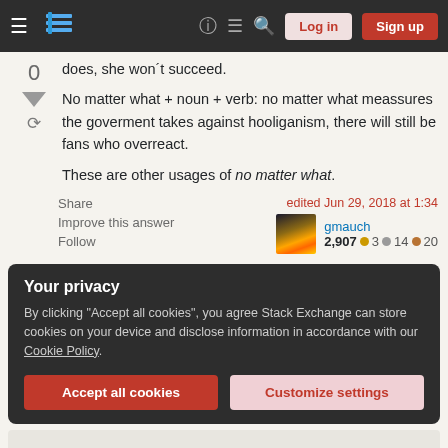Stack Exchange navigation bar with Log in and Sign up buttons
does, she won't succeed.
No matter what + noun + verb: no matter what meassures the goverment takes against hooliganism, there will still be fans who overreact.
These are other usages of no matter what.
Share  Improve this answer  Follow
edited Jun 29, 2018 at 1:34
gmauch
2,907  ●3  ●14  ●20
Your privacy
By clicking "Accept all cookies", you agree Stack Exchange can store cookies on your device and disclose information in accordance with our Cookie Policy.
Accept all cookies  Customize settings